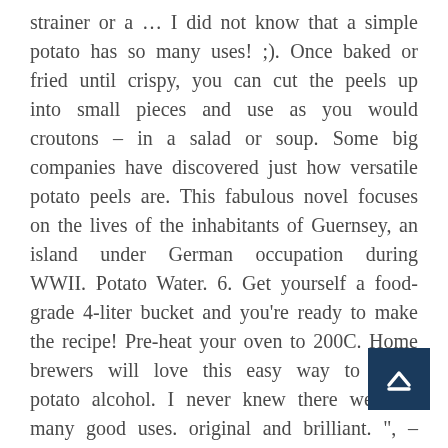strainer or a … I did not know that a simple potato has so many uses! ;). Once baked or fried until crispy, you can cut the peels up into small pieces and use as you would croutons – in a salad or soup. Some big companies have discovered just how versatile potato peels are. This fabulous novel focuses on the lives of the inhabitants of Guernsey, an island under German occupation during WWII. Potato Water. 6. Get yourself a food-grade 4-liter bucket and you're ready to make the recipe! Pre-heat your oven to 200C. Home brewers will love this easy way to make potato alcohol. I never knew there were so many good uses. original and brilliant. " , – excerpt from A Thousand Years Over a Hot Stove: A History of American Women Told Through Food, Recipes, and Remembrances. Use after every shampoo as a hair rinse. I recently m vinegar using pineapple skins that were going to thrown out! I need to use it to cover grey hair! Boil